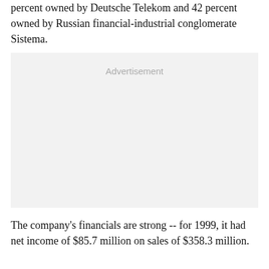percent owned by Deutsche Telekom and 42 percent owned by Russian financial-industrial conglomerate Sistema.
[Figure (other): Advertisement placeholder box with light gray background and 'Advertisement' label text centered near top.]
The company's financials are strong -- for 1999, it had net income of $85.7 million on sales of $358.3 million.